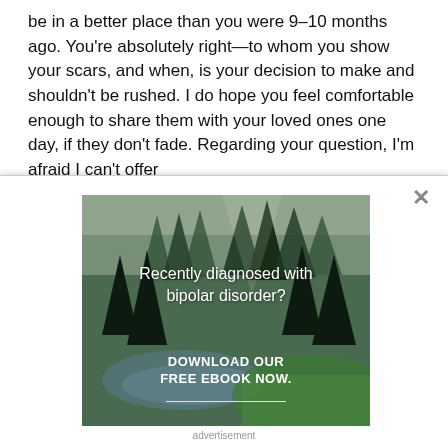be in a better place than you were 9–10 months ago. You're absolutely right—to whom you show your scars, and when, is your decision to make and shouldn't be rushed. I do hope you feel comfortable enough to share them with your loved ones one day, if they don't fade. Regarding your question, I'm afraid I can't offer
[Figure (photo): Advertisement overlay panel with an X close button, featuring a forest/nature background with pine trees and a stream. Text reads 'Recently diagnosed with bipolar disorder? DOWNLOAD OUR FREE EBOOK NOW.' with a white underline.]
advertisement